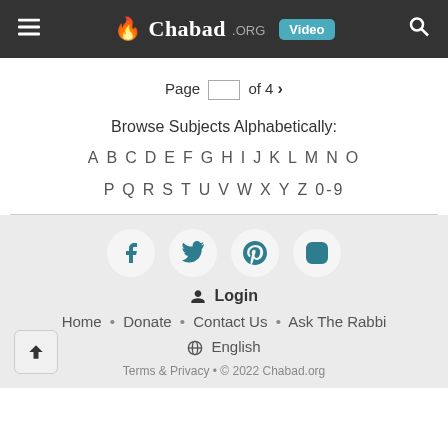Chabad.ORG Video
Page  of 4 >
Browse Subjects Alphabetically:
A B C D E F G H I J K L M N O P Q R S T U V W X Y Z 0-9
[Figure (other): Social media icons: Facebook, Twitter, Pinterest, Instagram]
Login
Home • Donate • Contact Us • Ask The Rabbi
English
Terms & Privacy • © 2022 Chabad.org